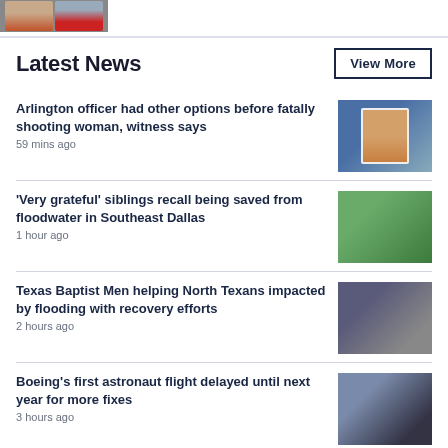[Figure (photo): Two mugshot-style photos of men at top of page]
Latest News
View More
Arlington officer had other options before fatally shooting woman, witness says
59 mins ago
[Figure (photo): Mugshot of a man against blue background]
'Very grateful' siblings recall being saved from floodwater in Southeast Dallas
1 hour ago
[Figure (photo): People standing outside in a yard after flooding]
Texas Baptist Men helping North Texans impacted by flooding with recovery efforts
2 hours ago
[Figure (photo): People working in flood-damaged area with yellow shirt visible]
Boeing's first astronaut flight delayed until next year for more fixes
3 hours ago
[Figure (photo): Space capsule or spacecraft viewed from above]